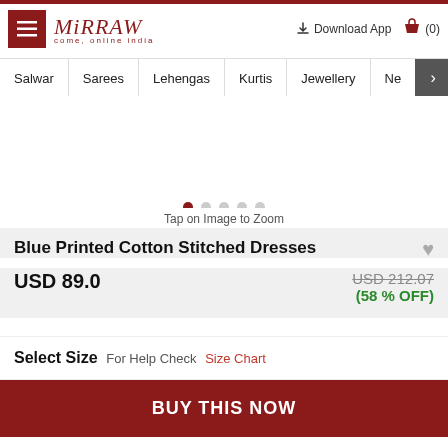Mirraw — come, online india
Salwar | Sarees | Lehengas | Kurtis | Jewellery | Ne →
[Figure (other): Product image carousel area with 5 navigation dots and zoom hint]
Tap on Image to Zoom
Blue Printed Cotton Stitched Dresses
USD 89.0    USD 212.07  (58 % OFF)
Select Size  For Help Check  Size Chart
BUY THIS NOW